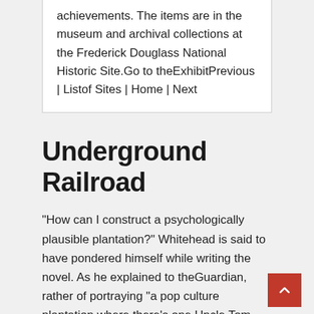achievements. The items are in the museum and archival collections at the Frederick Douglass National Historic Site.Go to theExhibitPrevious | Listof Sites | Home | Next
Underground Railroad
“How can I construct a psychologically plausible plantation?” Whitehead is said to have pondered himself while writing the novel. As he explained to theGuardian, rather of portraying “a pop culture plantation where there’s one Uncle Tom and everyone is just incredibly nice to each other,” the